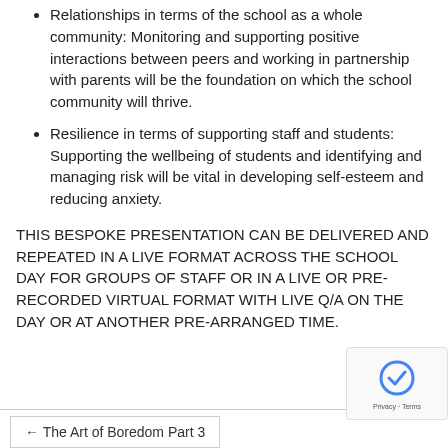Relationships in terms of the school as a whole community: Monitoring and supporting positive interactions between peers and working in partnership with parents will be the foundation on which the school community will thrive.
Resilience in terms of supporting staff and students: Supporting the wellbeing of students and identifying and managing risk will be vital in developing self-esteem and reducing anxiety.
THIS BESPOKE PRESENTATION CAN BE DELIVERED AND REPEATED IN A LIVE FORMAT ACROSS THE SCHOOL DAY FOR GROUPS OF STAFF OR IN A LIVE OR PRE-RECORDED VIRTUAL FORMAT WITH LIVE Q/A ON THE DAY OR AT ANOTHER PRE-ARRANGED TIME.
← The Art of Boredom Part 3